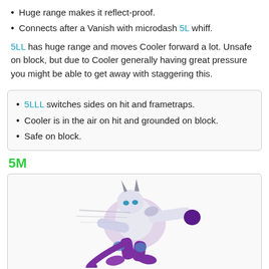Huge range makes it reflect-proof.
Connects after a Vanish with microdash 5L whiff.
5LL has huge range and moves Cooler forward a lot. Unsafe on block, but due to Cooler generally having great pressure you might be able to get away with staggering this.
5LLL switches sides on hit and frametraps.
Cooler is in the air on hit and grounded on block.
Safe on block.
5M
[Figure (illustration): Cooler character performing a punch/dash attack animation, purple and white coloring, stylized fighting game art.]
| Damage | Guard | Smash | Startup | Active | Recovery | On-Block | Invuln |
| --- | --- | --- | --- | --- | --- | --- | --- |